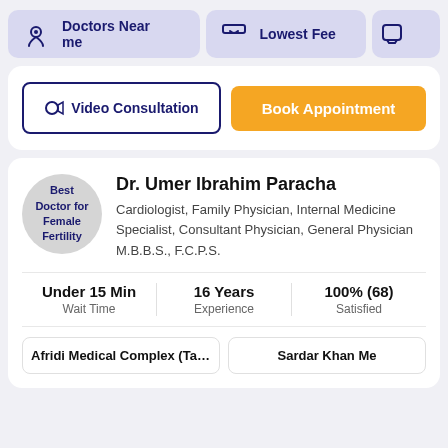[Figure (screenshot): Filter bar with 'Doctors Near me', 'Lowest Fee', and a third partially visible button]
[Figure (screenshot): Action buttons: Video Consultation (outlined) and Book Appointment (orange)]
Dr. Umer Ibrahim Paracha
Cardiologist, Family Physician, Internal Medicine Specialist, Consultant Physician, General Physician
M.B.B.S., F.C.P.S.
Under 15 Min | Wait Time | 16 Years | Experience | 100% (68) | Satisfied
Afridi Medical Complex (Tahkal Ro...
Sardar Khan Me